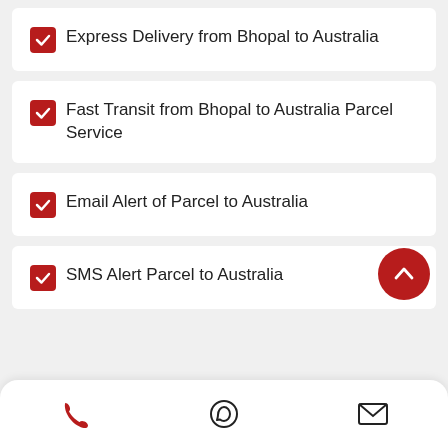Express Delivery from Bhopal to Australia
Fast Transit from Bhopal to Australia Parcel Service
Email Alert of Parcel to Australia
SMS Alert Parcel to Australia